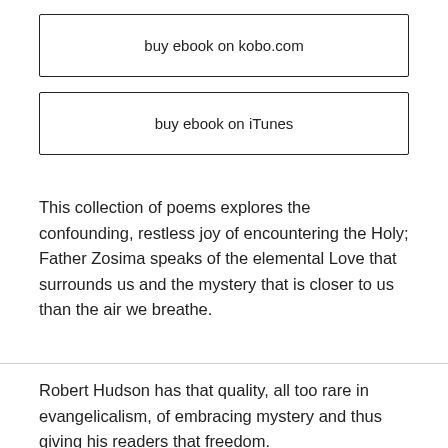buy ebook on kobo.com
buy ebook on iTunes
This collection of poems explores the confounding, restless joy of encountering the Holy; Father Zosima speaks of the elemental Love that surrounds us and the mystery that is closer to us than the air we breathe.
Robert Hudson has that quality, all too rare in evangelicalism, of embracing mystery and thus giving his readers that freedom.